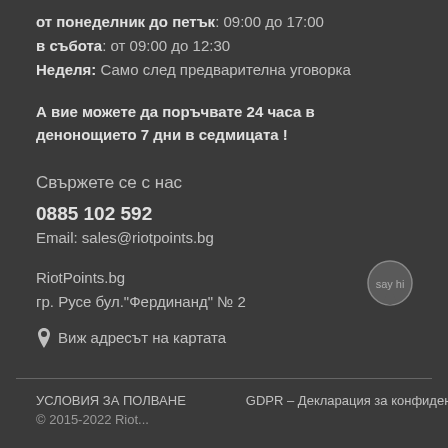от понеделник до петък: 09:00 до 17:00
в събота: от 09:00 до 12:30
Неделя: Само след предварителна уговорка
А вие можете да поръчвате 24 часа в денонощието 7 дни в седмицата !
Свържете се с нас
0885 102 592
Email: sales@riotpoints.bg
RiotPoints.bg
гр. Русе бул."Фердинанд" № 2
📍 Виж адресът на картата
УСЛОВИЯ ЗА ПОЛВАНЕ    GDPR – Декларация за конфиденциалност
© 2015-2022 Riot...